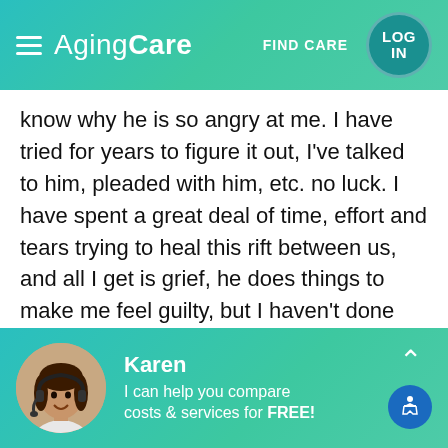Aging Care — FIND CARE — LOG IN
know why he is so angry at me. I have tried for years to figure it out, I've talked to him, pleaded with him, etc. no luck. I have spent a great deal of time, effort and tears trying to heal this rift between us, and all I get is grief, he does things to make me feel guilty, but I haven't done anything wrong! Now he says he needs to sell his house and go to assisted living, (something I told him he needed to do years ago). He thinks he can sell his house for what it was worth back in 2004! I told him he is better off cutting his losses and getting rid of it while he still
[Figure (screenshot): Chat widget with photo of Karen, a customer service representative with headset, and text 'I can help you compare costs & services for FREE!']